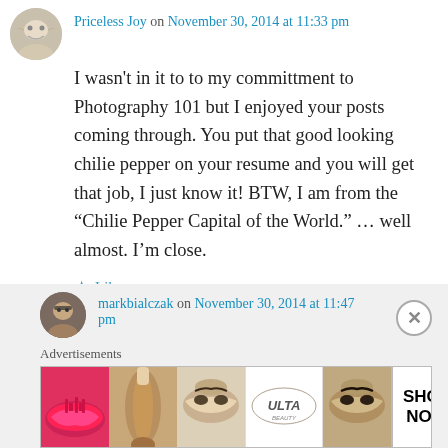Priceless Joy on November 30, 2014 at 11:33 pm
I wasn't in it to to my committment to Photography 101 but I enjoyed your posts coming through. You put that good looking chilie pepper on your resume and you will get that job, I just know it! BTW, I am from the “Chilie Pepper Capital of the World.” … well almost. I’m close.
Like
Reply
markbialczak on November 30, 2014 at 11:47 pm
[Figure (photo): Advertisement banner for ULTA beauty featuring close-up photos of lips, makeup brush, eye with eyebrow, ULTA logo, eye with dramatic makeup, and SHOP NOW text]